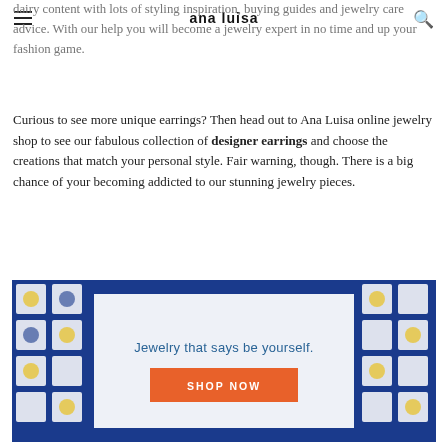ana luisa
dairy content with lots of styling inspiration, buying guides and jewelry care advice. With our help you will become a jewelry expert in no time and up your fashion game.
Curious to see more unique earrings? Then head out to Ana Luisa online jewelry shop to see our fabulous collection of designer earrings and choose the creations that match your personal style. Fair warning, though. There is a big chance of your becoming addicted to our stunning jewelry pieces.
[Figure (infographic): Ana Luisa jewelry advertisement banner with ornate blue and yellow tile mosaic background and a white center box containing the text 'Jewelry that says be yourself.' and an orange 'SHOP NOW' button.]